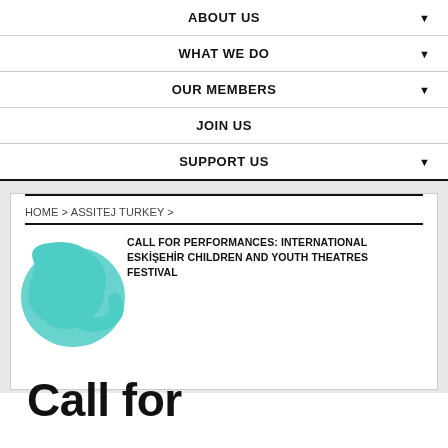ABOUT US
WHAT WE DO
OUR MEMBERS
JOIN US
SUPPORT US
HOME > ASSITEJ TURKEY >
CALL FOR PERFORMANCES: INTERNATIONAL ESKIŞEHIR CHILDREN AND YOUTH THEATRES FESTIVAL
Call for